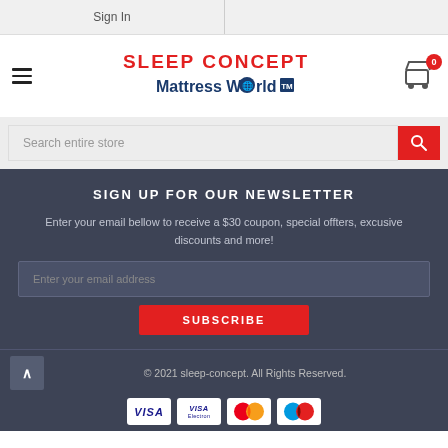Sign In
[Figure (logo): Sleep Concept Mattress World logo with red maple leaf]
Search entire store
SIGN UP FOR OUR NEWSLETTER
Enter your email bellow to receive a $30 coupon, special offters, excusive discounts and more!
Enter your email address
SUBSCRIBE
© 2021 sleep-concept. All Rights Reserved.
[Figure (other): Payment method icons: Visa, Visa Electron, Mastercard, Maestro]